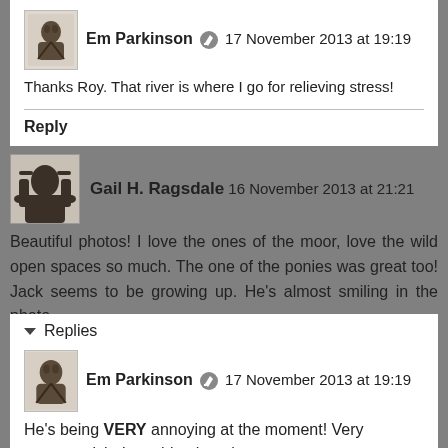Em Parkinson · 17 November 2013 at 19:19
Thanks Roy. That river is where I go for relieving stress!
Reply
Gail H. Ragsdale  16 November 2013 at 21:21
Beautiful photos! I love the ones of the moor, love the wild open spaces so much. The one of the ponies was great too! Jack seems to be growing up. He's almost smiling in the photo.
Reply
▼ Replies
Em Parkinson · 17 November 2013 at 19:19
He's being VERY annoying at the moment! Very teenager-ish. Love him though.